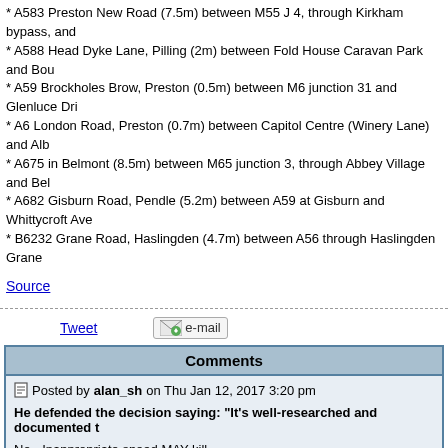* A583 Preston New Road (7.5m) between M55 J 4, through Kirkham bypass, and
* A588 Head Dyke Lane, Pilling (2m) between Fold House Caravan Park and Bou
* A59 Brockholes Brow, Preston (0.5m) between M6 junction 31 and Glenluce Dr
* A6 London Road, Preston (0.7m) between Capitol Centre (Winery Lane) and Al
* A675 in Belmont (8.5m) between M65 junction 3, through Abbey Village and Be
* A682 Gisburn Road, Pendle (5.2m) between A59 at Gisburn and Whittycroft Ave
* B6232 Grane Road, Haslingden (4.7m) between A56 through Haslingden Grane
Source
Tweet | e-mail
Comments
Posted by alan_sh on Thu Jan 12, 2017 3:20 pm
He defended the decision saying: "It's well-researched and documented t
No - Inappropriate speed MAY kill.
Posted by sussamb on Thu Jan 12, 2017 3:47 pm
Not sure what point you're trying to make, fact is speeding can kill ... or rather s someone dies ... nothing to do with inappropriate speed (however you determin for you will no doubt be different for me, hence why we have speed limits or it w
Where there's a will ... there's a way.
Posted by M8TJT on Thu Jan 12, 2017 6:47 pm
The faster you go, the more likely you are to be killed. Fact! If you have an acci WILL be more serious. It's called kinetic energy (KE) and increases with speed